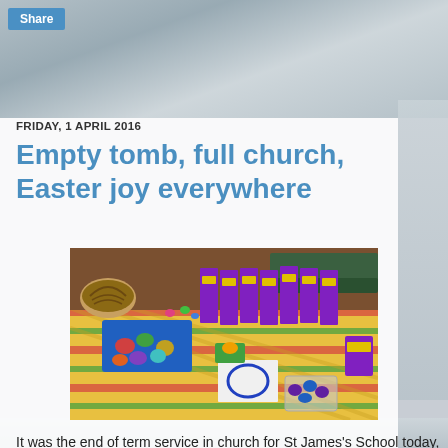Share
FRIDAY, 1 APRIL 2016
Empty tomb, full church, Easter joy everywhere
[Figure (photo): Photo of a table covered with a colourful striped tablecloth, displaying a row of Cadbury Easter egg boxes, a blue tray with decorated eggs, a wicker basket, drawings, and small chocolates in a plastic container, set in a church or school hall.]
It was the end of term service in church for St James's School today, the second service to be planned by the Junior Faith Committee, and the time to announce the winners of the Easter Egg Competition that the children had been taking